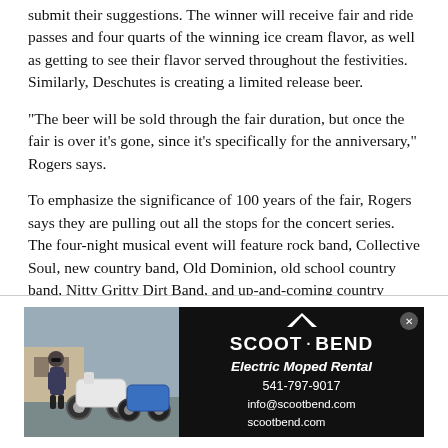submit their suggestions. The winner will receive fair and ride passes and four quarts of the winning ice cream flavor, as well as getting to see their flavor served throughout the festivities. Similarly, Deschutes is creating a limited release beer.
"The beer will be sold through the fair duration, but once the fair is over it's gone, since it's specifically for the anniversary," Rogers says.
To emphasize the significance of 100 years of the fair, Rogers says they are pulling out all the stops for the concert series. The four-night musical event will feature rock band, Collective Soul, new country band, Old Dominion, old school country band, Nitty Gritty Dirt Band, and up-and-coming country artist, Michael Ray.
[Figure (photo): Advertisement for Scoot Bend Electric Moped Rental showing a person standing next to two mopeds (one white, one blue) on the left, and on the right a black panel with the Scoot·Bend logo, tagline 'Electric Moped Rental', phone number 541-797-9017, and website info@scootbend.com / scootbend.com]